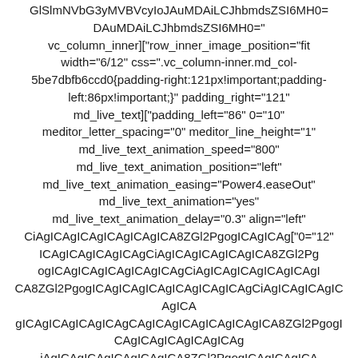GlSlmNVbG3yMVBVcyIoJAuMDAiLCJhbmdsZSI6MH0= DAuMDAiLCJhbmdsZSI6MH0=" vc_column_inner]["row_inner_image_position="fit width="6/12" css=".vc_column-inner.md_col-5be7dbfb6ccd0{padding-right:121px!important;padding-left:86px!important;}" padding_right="121" md_live_text]["padding_left="86" 0="10" meditor_letter_spacing="0" meditor_line_height="1" md_live_text_animation_speed="800" md_live_text_animation_position="left" md_live_text_animation_easing="Power4.easeOut" md_live_text_animation="yes" md_live_text_animation_delay="0.3" align="left" CiAgICAgICAgICAgICAgICA8ZGl2PgogICAgICAg["0="12" ICAgICAgICAgICAgCiAgICAgICAgICAgICA8ZGl2PgogICAgICAgICAgICAgICAgCiAgICAgICAgICAgICA8ZGl2PgogICAgICAgICAgICAgICAgICAgCiAgICAgICAgICAgICA8ZGl2PgogICAgICAgICAgICAgICAgICAgCiAgICAgICAgICAgICA8ZGl2PgogICAgICAgICAgICAgICAgICAgCiAgICAgICAgICAgICA8ZGl2PgogICAgICAgICAgICAgICAgICAgCiAgICCA